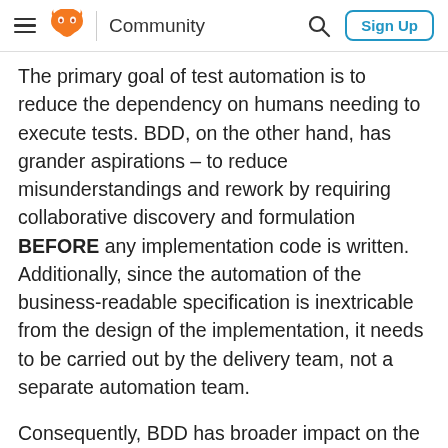Community
The primary goal of test automation is to reduce the dependency on humans needing to execute tests. BDD, on the other hand, has grander aspirations – to reduce misunderstandings and rework by requiring collaborative discovery and formulation BEFORE any implementation code is written. Additionally, since the automation of the business-readable specification is inextricable from the design of the implementation, it needs to be carried out by the delivery team, not a separate automation team.
Consequently, BDD has broader impact on the team/organisation. It requires early and frequent collaboration where it did not exist before, and the full participation of the development team in automation. Test automation is less prescriptive and requires little